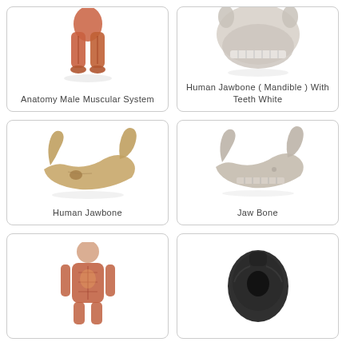[Figure (illustration): 3D render of Anatomy Male Muscular System showing legs and lower body muscles in red/orange tones on white background]
Anatomy Male Muscular System
[Figure (illustration): 3D render of Human Jawbone (Mandible) With Teeth White, a white/grey skull/jaw model on white background]
Human Jawbone ( Mandible ) With Teeth White
[Figure (illustration): 3D render of Human Jawbone, a tan/brown aged jawbone model on white background]
Human Jawbone
[Figure (illustration): 3D render of Jaw Bone, a light grey/beige jawbone model on white background]
Jaw Bone
[Figure (illustration): 3D render of full human anatomy male muscular system, upper body visible, red/orange muscles]
[Figure (illustration): 3D render of a dark black anatomical object, possibly a vertebra or joint, dark grey/black color]